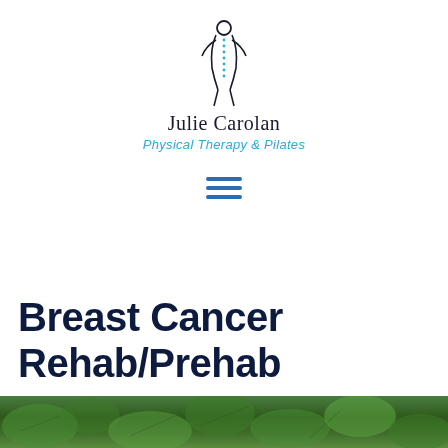[Figure (logo): Julie Carolan Physical Therapy & Pilates logo with stylized human figure and spine]
[Figure (other): Hamburger menu icon with three horizontal blue lines]
Breast Cancer Rehab/Prehab
[Figure (photo): Green leafy plants/foliage strip at bottom of page]